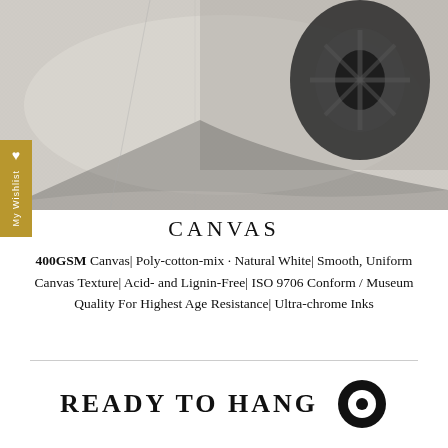[Figure (photo): Close-up photo of a canvas print showing a car wheel/tire, printed on textured natural white canvas material]
[Figure (illustration): Gold/tan colored tab on the left side with a white heart icon and 'My Wishlist' text written vertically]
CANVAS
400GSM Canvas| Poly-cotton-mix · Natural White| Smooth, Uniform Canvas Texture| Acid- and Lignin-Free| ISO 9706 Conform / Museum Quality For Highest Age Resistance| Ultrachrome Inks
READY TO HANG